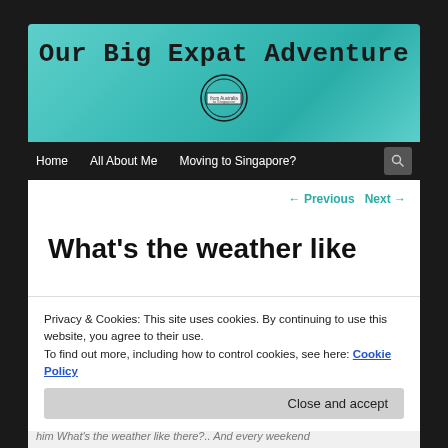Our Big Expat Adventure
[Figure (logo): Circular logo with text 'from Australia to Singapore']
Home  All About Me  Moving to Singapore?
← Previous  Next →
What's the weather like
Privacy & Cookies: This site uses cookies. By continuing to use this website, you agree to their use.
To find out more, including how to control cookies, see here: Cookie Policy
Close and accept
him What's the weather like there?.. And every weekend